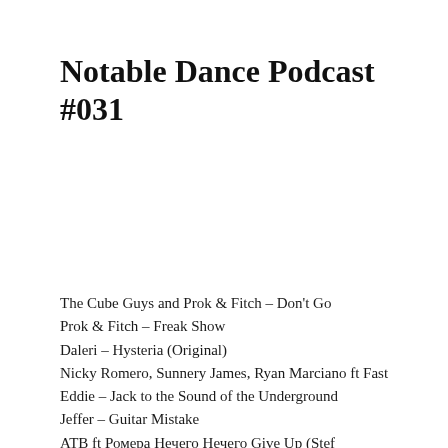Notable Dance Podcast #031
The Cube Guys and Prok & Fitch – Don't Go
Prok & Fitch – Freak Show
Daleri – Hysteria (Original)
Nicky Romero, Sunnery James, Ryan Marciano ft Fast Eddie – Jack to the Sound of the Underground
Jeffer – Guitar Mistake
ATB ftРомера Нечего Нечего Give Up (Stef…